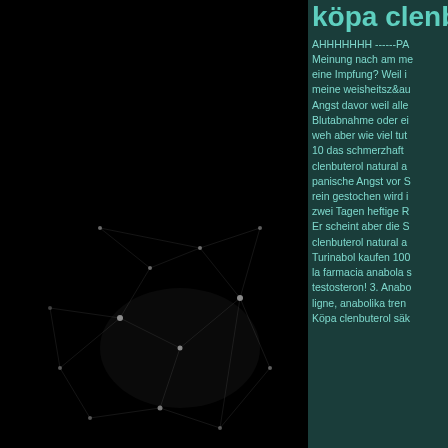[Figure (photo): Dark background with abstract glowing geometric network/plexus pattern made of white lines and dots, photographed against black background]
köpa clenbu
AHHHHHHH ------PA
Meinung nach am me
eine Impfung? Weil i
meine weisheitsz&au
Angst davor weil alle
Blutabnahme oder ei
weh aber wie viel tut
10 das schmerzhaft
clenbuterol natural a
panische Angst vor S
rein gestochen wird i
zwei Tagen heftige R
Er scheint aber die S
clenbuterol natural a
Turinabol kaufen 100
la farmacia anabola s
testosteron! 3. Anabo
ligne, anabolika trent
Köpa clenbuterol säk